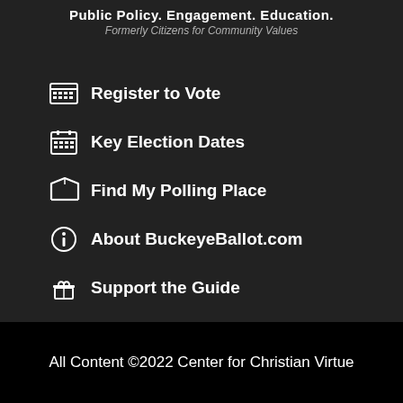Public Policy. Engagement. Education.
Formerly Citizens for Community Values
Register to Vote
Key Election Dates
Find My Polling Place
About BuckeyeBallot.com
Support the Guide
All Content ©2022 Center for Christian Virtue